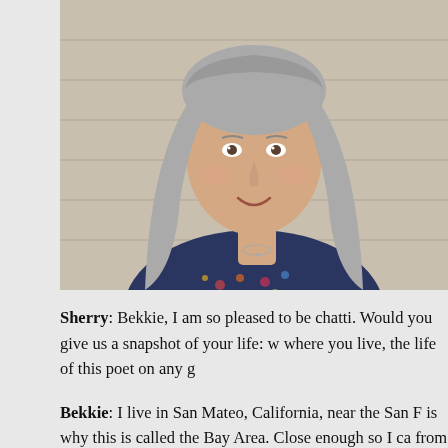[Figure (photo): Portrait photo of a woman with long gray hair, smiling, wearing a floral top, seated outdoors near siding wall]
Sherry: Bekkie, I am so pleased to be chatti. Would you give us a snapshot of your life: w where you live, the life of this poet on any g
Bekkie: I live in San Mateo, California, near the San F is why this is called the Bay Area. Close enough so I ca from my small apartment to the Bay Trail. The Bay Trai path that travels around the San Francisco Bay so, in the the way around. Wetlands and nature thrive in these area place to ride, used by many people.